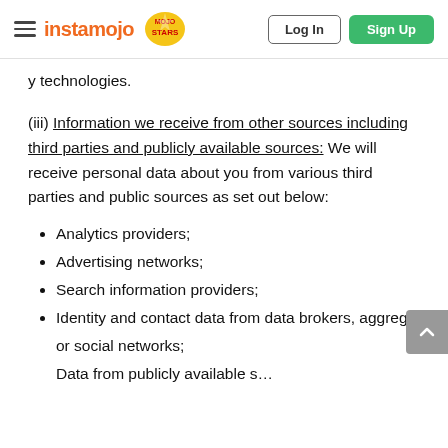instamojo | Log In | Sign Up
technologies.
(iii) Information we receive from other sources including third parties and publicly available sources: We will receive personal data about you from various third parties and public sources as set out below:
Analytics providers;
Advertising networks;
Search information providers;
Identity and contact data from data brokers, aggregators or social networks;
Data from publicly available sources.